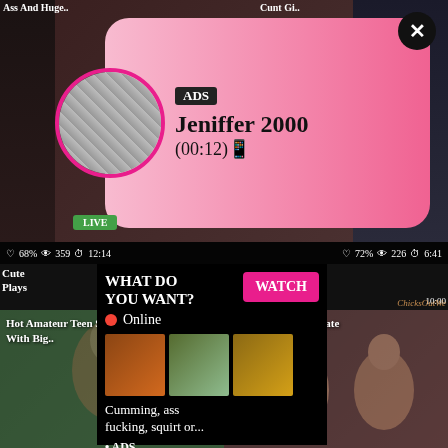Ass And Huge..
Cunt Gi..
[Figure (screenshot): Ad popup overlay with avatar photo, LIVE badge, ADS tag, name Jeniffer 2000, timestamp (00:12), pink gradient background, close X button]
68%  359  12:14  72%  226  6:41
Cute
Plays
[Figure (screenshot): Center video thumbnail showing adult content]
[Figure (screenshot): Ad panel: WHAT DO YOU WANT? with WATCH button, Online indicator, three small thumbnails, text: Cumming, ass fucking, squirt or... • ADS]
ick
10:00
ChicksOutWe
Hot Amateur Teen Sex - Girl With Big..
Casting Kiki Desperate Amateurs..
[Figure (photo): Bottom left thumbnail - woman in bikini outdoors]
[Figure (photo): Bottom right thumbnail - two women indoors]